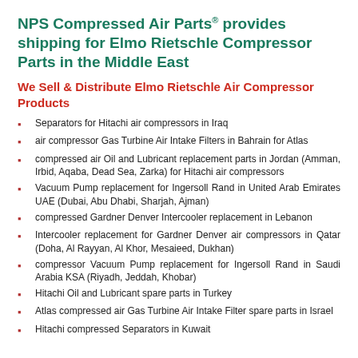NPS Compressed Air Parts® provides shipping for Elmo Rietschle Compressor Parts in the Middle East
We Sell & Distribute Elmo Rietschle Air Compressor Products
Separators for Hitachi air compressors in Iraq
air compressor Gas Turbine Air Intake Filters in Bahrain for Atlas
compressed air Oil and Lubricant replacement parts in Jordan (Amman, Irbid, Aqaba, Dead Sea, Zarka) for Hitachi air compressors
Vacuum Pump replacement for Ingersoll Rand in United Arab Emirates UAE (Dubai, Abu Dhabi, Sharjah, Ajman)
compressed Gardner Denver Intercooler replacement in Lebanon
Intercooler replacement for Gardner Denver air compressors in Qatar (Doha, Al Rayyan, Al Khor, Mesaieed, Dukhan)
compressor Vacuum Pump replacement for Ingersoll Rand in Saudi Arabia KSA (Riyadh, Jeddah, Khobar)
Hitachi Oil and Lubricant spare parts in Turkey
Atlas compressed air Gas Turbine Air Intake Filter spare parts in Israel
Hitachi compressed Separators in Kuwait